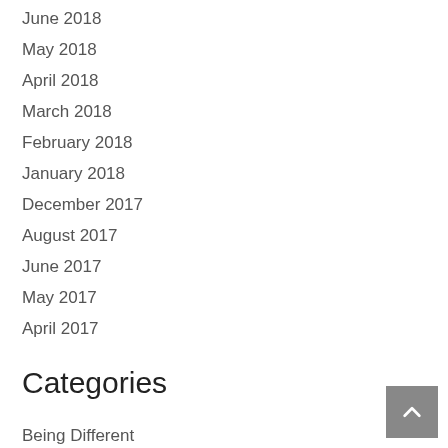June 2018
May 2018
April 2018
March 2018
February 2018
January 2018
December 2017
August 2017
June 2017
May 2017
April 2017
Categories
Being Different
Body Image
Celebrities Who Were Bullied
Dating